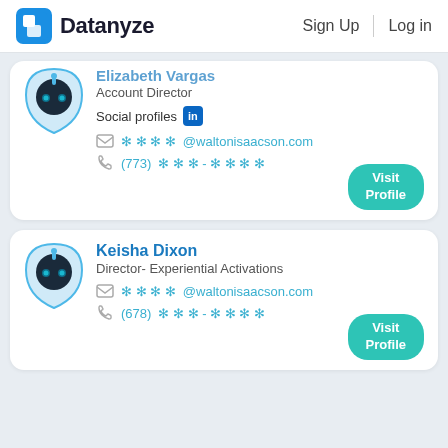Datanyze  Sign Up  Log in
Elizabeth Vargas
Account Director
Social profiles [LinkedIn]
****@waltonisaacson.com
(773) ***-****
Visit Profile
Keisha Dixon
Director- Experiential Activations
****@waltonisaacson.com
(678) ***-****
Visit Profile